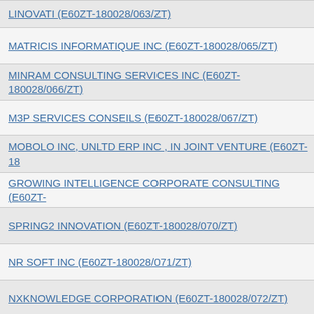LINOVATI (E60ZT-180028/063/ZT)
MATRICIS INFORMATIQUE INC (E60ZT-180028/065/ZT)
MINRAM CONSULTING SERVICES INC (E60ZT-180028/066/ZT)
M3P SERVICES CONSEILS (E60ZT-180028/067/ZT)
MOBOLO INC, UNLTD ERP INC , IN JOINT VENTURE (E60ZT-18…)
GROWING INTELLIGENCE CORPORATE CONSULTING (E60ZT-…)
SPRING2 INNOVATION (E60ZT-180028/070/ZT)
NR SOFT INC (E60ZT-180028/071/ZT)
NXKNOWLEDGE CORPORATION (E60ZT-180028/072/ZT)